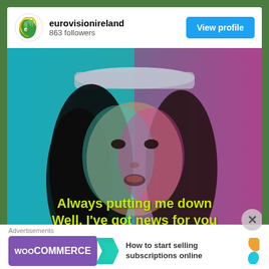[Figure (screenshot): Instagram profile header showing eurovisionireland account with logo, 863 followers count, and a blue View profile button]
eurovisionireland
863 followers
[Figure (photo): Woman's face lit with teal on left side and magenta/pink on right side, wearing a white visor cap, with yellow bold text overlay reading 'Always putting me down Well, I've got news for you']
Always putting me down
Well, I've got news for you
Advertisements
[Figure (logo): WooCommerce advertisement banner with purple WooCommerce logo, teal arrow, orange decorative shapes, and text 'How to start selling subscriptions online']
How to start selling subscriptions online